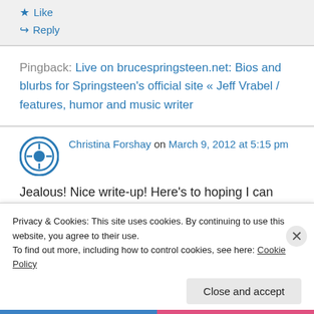★ Like
↳ Reply
Pingback: Live on brucespringsteen.net: Bios and blurbs for Springsteen's official site « Jeff Vrabel / features, humor and music writer
Christina Forshay on March 9, 2012 at 5:15 pm
Jealous! Nice write-up! Here's to hoping I can one day magically appear in a crowded room
Privacy & Cookies: This site uses cookies. By continuing to use this website, you agree to their use.
To find out more, including how to control cookies, see here: Cookie Policy
Close and accept